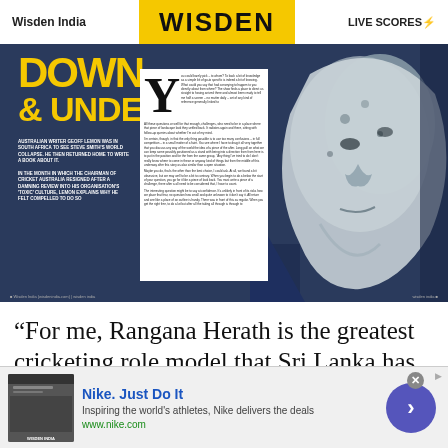Wisden India | WISDEN | LIVE SCORES
[Figure (photo): Magazine spread showing 'DOWN & UNDER' article with Australian writer Geoff Lemon, featuring a large illustrated face in dark blue tones and article text on white page inset]
“For me, Rangana Herath is the greatest cricketing role model that Sri Lanka has produced because of the challenges he has had to overcome, stepping out of
[Figure (other): Nike advertisement banner: Nike. Just Do It - Inspiring the world's athletes, Nike delivers the deals - www.nike.com]